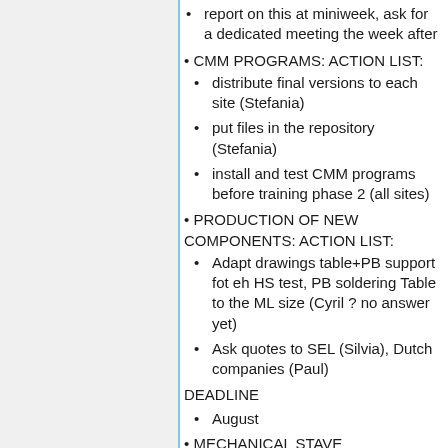report on this at miniweek, ask for a dedicated meeting the week after
CMM PROGRAMS: ACTION LIST:
distribute final versions to each site (Stefania)
put files in the repository (Stefania)
install and test CMM programs before training phase 2 (all sites)
PRODUCTION OF NEW COMPONENTS: ACTION LIST:
Adapt drawings table+PB support fot eh HS test, PB soldering Table to the ML size (Cyril ? no answer yet)
Ask quotes to SEL (Silvia), Dutch companies (Paul)
DEADLINE
August
MECHANICAL STAVE